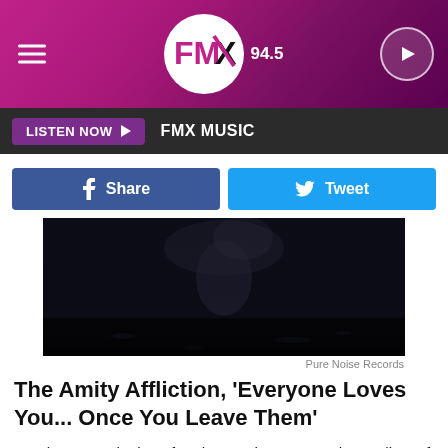FMX 94.5
LISTEN NOW  FMX MUSIC
Share   Tweet
[Figure (photo): Dark, moody music video still showing a figure in a dark environment, likely from The Amity Affliction]
Pure Noise Records
The Amity Affliction, 'Everyone Loves You... Once You Leave Them'
Coming out swinging after the pop-heavy experimentalism of previous album Misery, the Amity Affliction have brought the goods with Everyone Loves You... Once You Leave Them . Metalcore epics such as "All My Friends Are Dead" and "Soak